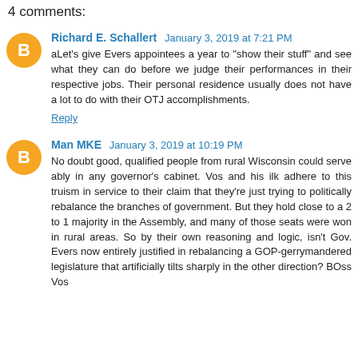4 comments:
Richard E. Schallert January 3, 2019 at 7:21 PM
aLet's give Evers appointees a year to "show their stuff" and see what they can do before we judge their performances in their respective jobs. Their personal residence usually does not have a lot to do with their OTJ accomplishments.
Reply
Man MKE January 3, 2019 at 10:19 PM
No doubt good, qualified people from rural Wisconsin could serve ably in any governor's cabinet. Vos and his ilk adhere to this truism in service to their claim that they're just trying to politically rebalance the branches of government. But they hold close to a 2 to 1 majority in the Assembly, and many of those seats were won in rural areas. So by their own reasoning and logic, isn't Gov. Evers now entirely justified in rebalancing a GOP-gerrymandered legislature that artificially tilts sharply in the other direction? BOss Vos